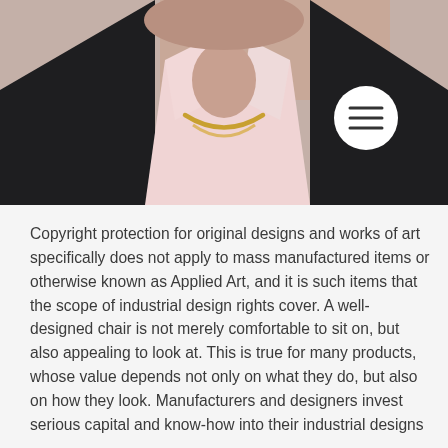[Figure (photo): Partial photo of a woman wearing a dark blazer, pink collared shirt, and gold necklace. A circular white menu/hamburger button icon is visible in the upper right of the image.]
Copyright protection for original designs and works of art specifically does not apply to mass manufactured items or otherwise known as Applied Art, and it is such items that the scope of industrial design rights cover. A well-designed chair is not merely comfortable to sit on, but also appealing to look at. This is true for many products, whose value depends not only on what they do, but also on how they look. Manufacturers and designers invest serious capital and know-how into their industrial designs...